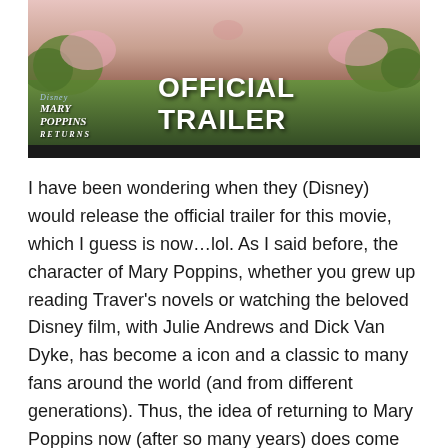[Figure (screenshot): YouTube video thumbnail for Mary Poppins Returns Official Trailer. Shows a figure floating in the air over a colorful landscape with cherry blossoms. The Disney logo and 'Mary Poppins Returns' text appear in the lower left, and 'OFFICIAL TRAILER' in large bold white text. A YouTube play button icon is visible at the top center.]
I have been wondering when they (Disney) would release the official trailer for this movie, which I guess is now…lol. As I said before, the character of Mary Poppins, whether you grew up reading Traver's novels or watching the beloved Disney film, with Julie Andrews and Dick Van Dyke, has become a icon and a classic to many fans around the world (and from different generations). Thus, the idea of returning to Mary Poppins now (after so many years) does come with some reservations, but this new trailer for Mary Poppins Returns looks fantastic; bringing with it a lot of the charm and colorful imagination as I could remember from my